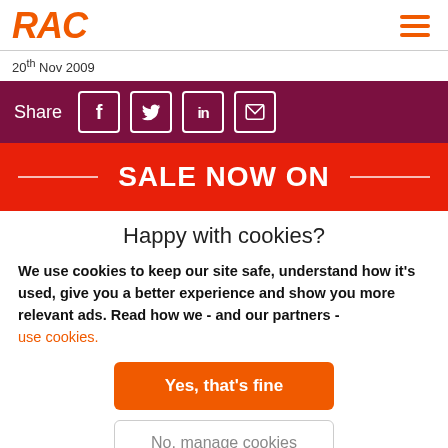RAC
20th Nov 2009
[Figure (infographic): Share bar with social icons: Facebook, Twitter, LinkedIn, Email on dark purple background]
[Figure (infographic): Red sale banner reading SALE NOW ON with white horizontal lines on either side]
Happy with cookies?
We use cookies to keep our site safe, understand how it's used, give you a better experience and show you more relevant ads. Read how we - and our partners - use cookies.
Yes, that's fine
No, manage cookies